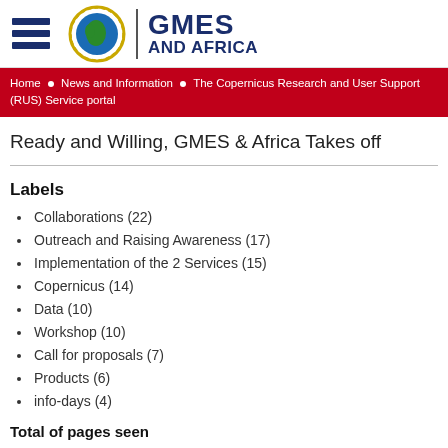[Figure (logo): GMES and Africa logo with globe icon, hamburger menu icon, and GMES AND AFRICA text]
Home • News and Information • The Copernicus Research and User Support (RUS) Service portal
Ready and Willing, GMES & Africa Takes off
Labels
Collaborations (22)
Outreach and Raising Awareness (17)
Implementation of the 2 Services (15)
Copernicus (14)
Data (10)
Workshop (10)
Call for proposals (7)
Products (6)
info-days (4)
Total of pages seen